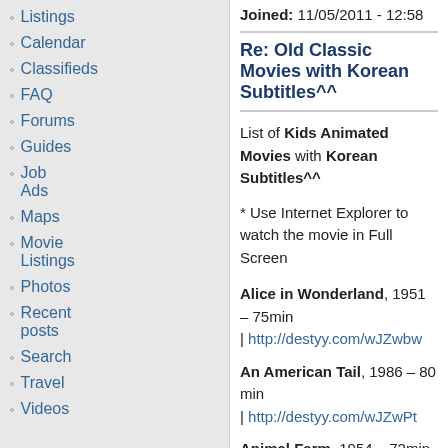Joined: 11/05/2011 - 12:58
Listings
Calendar
Classifieds
FAQ
Forums
Guides
Job Ads
Maps
Movie Listings
Photos
Recent posts
Search
Travel
Videos
Re: Old Classic Movies with Korean Subtitles^^
List of Kids Animated Movies with Korean Subtitles^^
* Use Internet Explorer to watch the movie in Full Screen
Alice in Wonderland, 1951 – 75min | http://destyy.com/wJZwbw
An American Tail, 1986 – 80 min | http://destyy.com/wJZwPt
Animal Farm, 1954 – 72min | http://destyy.com/wJZwFU
Bambi, 1942 – 70min